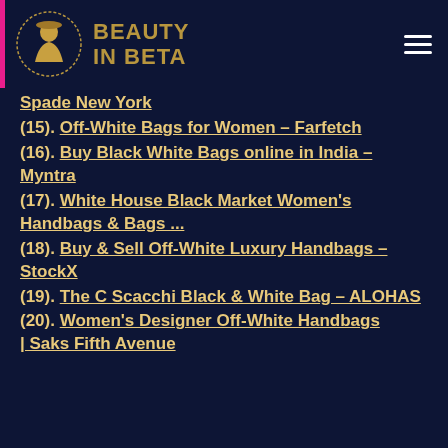[Figure (logo): Beauty In Beta website header with logo (silhouette of woman in circle) and brand name in gold text, hamburger menu icon top right]
Spade New York
(15). Off-White Bags for Women – Farfetch
(16). Buy Black White Bags online in India – Myntra
(17). White House Black Market Women's Handbags & Bags ...
(18). Buy & Sell Off-White Luxury Handbags – StockX
(19). The C Scacchi Black & White Bag – ALOHAS
(20). Women's Designer Off-White Handbags | Saks Fifth Avenue